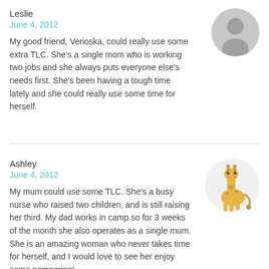Leslie
June 4, 2012
My good friend, Verioska, could really use some extra TLC. She's a single mom who is working two jobs and she always puts everyone else's needs first. She's been having a tough time lately and she could really use some time for herself.
[Figure (illustration): Gray circular avatar placeholder with silhouette of a person]
Ashley
June 4, 2012
My mum could use some TLC. She's a busy nurse who raised two children, and is still raising her third. My dad works in camp so for 3 weeks of the month she also operates as a single mum. She is an amazing woman who never takes time for herself, and I would love to see her enjoy some pampering!
[Figure (illustration): Circular avatar with cartoon giraffe illustration]